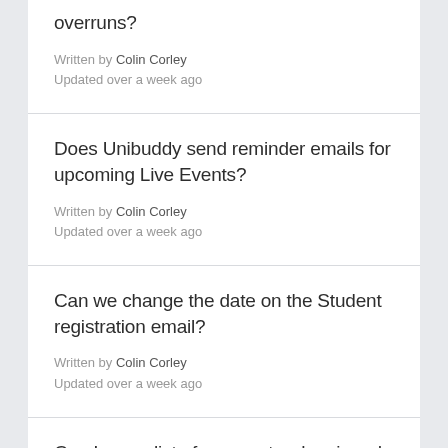overruns?
Written by Colin Corley
Updated over a week ago
Does Unibuddy send reminder emails for upcoming Live Events?
Written by Colin Corley
Updated over a week ago
Can we change the date on the Student registration email?
Written by Colin Corley
Updated over a week ago
Can I see a list of prospects who signed up for a Live Event?